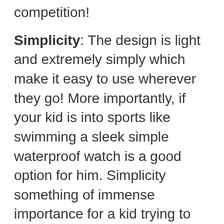competition!
Simplicity: The design is light and extremely simply which make it easy to use wherever they go! More importantly, if your kid is into sports like swimming a sleek simple waterproof watch is a good option for him. Simplicity something of immense importance for a kid trying to figure out how wearables work.
You won't be overwhelming your child with something too complex as the Garmin is a simple silicon watch that can easily be put on the arm. It has just